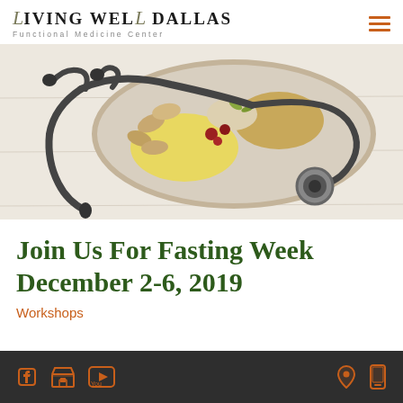LIVING WELL DALLAS — Functional Medicine Center
[Figure (photo): Photo of a heart-shaped ceramic bowl filled with nuts, grains, seeds and dried fruits, with a stethoscope draped around it on a white wooden surface.]
Join Us For Fasting Week December 2-6, 2019
Workshops
Social media icons (Facebook, store, YouTube) on left; location pin and mobile phone icons on right